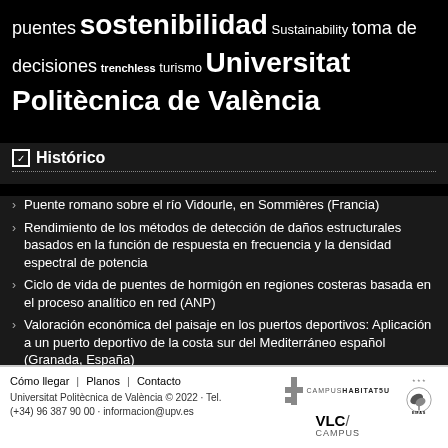puentes sostenibilidad Sustainability toma de decisiones trenchless turismo Universitat Politècnica de València
Histórico
Puente romano sobre el río Vidourle, en Sommières (Francia)
Rendimiento de los métodos de detección de daños estructurales basados en la función de respuesta en frecuencia y la densidad espectral de potencia
Ciclo de vida de puentes de hormigón en regiones costeras basada en el proceso analítico en red (ANP)
Valoración económica del paisaje en los puertos deportivos: Aplicación a un puerto deportivo de la costa sur del Mediterráneo español (Granada, España)
Explicación de la fabricación y puesta en obra del hormigón
Cómo llegar | Planos | Contacto
Universitat Politècnica de València © 2022 · Tel.
(+34) 96 387 90 00 · informacion@upv.es